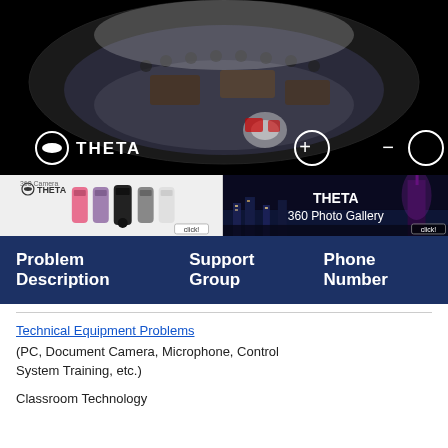[Figure (photo): 360-degree fisheye photo of a classroom/conference room taken from above, showing chairs and tables, with black background. THETA logo and zoom controls overlaid.]
[Figure (photo): Banner showing Ricoh THETA 360 cameras lineup on gray background with THETA logo and 'click!' button.]
[Figure (photo): Banner showing night cityscape photo with text 'THETA 360 Photo Gallery' and 'click!' button.]
| Problem Description | Support Group | Phone Number |
| --- | --- | --- |
Technical Equipment Problems
(PC, Document Camera, Microphone, Control System Training, etc.)
Classroom Technology